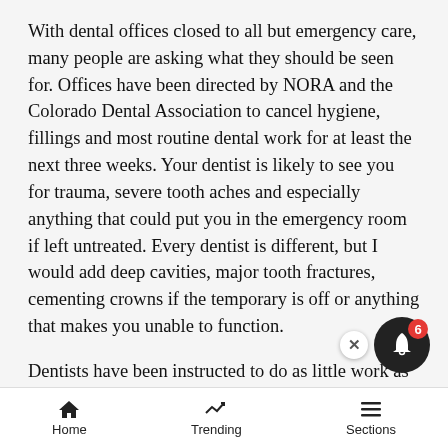With dental offices closed to all but emergency care, many people are asking what they should be seen for. Offices have been directed by NORA and the Colorado Dental Association to cancel hygiene, fillings and most routine dental work for at least the next three weeks. Your dentist is likely to see you for trauma, severe tooth aches and especially anything that could put you in the emergency room if left untreated. Every dentist is different, but I would add deep cavities, major tooth fractures, cementing crowns if the temporary is off or anything that makes you unable to function.
Dentists have been instructed to do as little work as possible to buy time. Perhaps for three more weeks, perhaps for much longer. Some patients will receive temporary sedative fillings, antibiotics, taking out only
Home  Trending  Sections